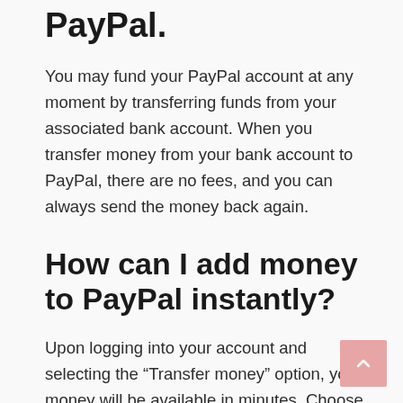PayPal.
You may fund your PayPal account at any moment by transferring funds from your associated bank account. When you transfer money from your bank account to PayPal, there are no fees, and you can always send the money back again.
How can I add money to PayPal instantly?
Upon logging into your account and selecting the “Transfer money” option, your money will be available in minutes. Choose the account or card to which you wish to transfer funds and then select the option for